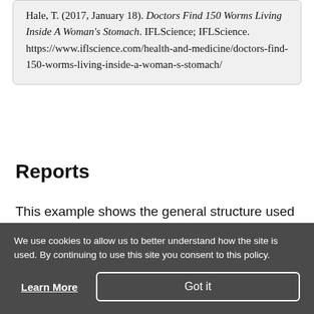Hale, T. (2017, January 18). Doctors Find 150 Worms Living Inside A Woman's Stomach. IFLScience; IFLScience. https://www.iflscience.com/health-and-medicine/doctors-find-150-worms-living-inside-a-woman-s-stomach/
Reports
This example shows the general structure used for government reports, technical reports, and
We use cookies to allow us to better understand how the site is used. By continuing to use this site you consent to this policy.